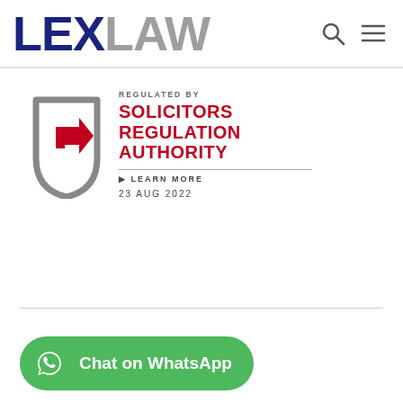[Figure (logo): LEXLAW logo with LEX in dark navy blue and LAW in grey, with search and hamburger menu icons]
[Figure (logo): Solicitors Regulation Authority badge: grey shield with red arrow, text REGULATED BY SOLICITORS REGULATION AUTHORITY, LEARN MORE, 23 AUG 2022]
[Figure (other): Green rounded button with WhatsApp icon and text Chat on WhatsApp]